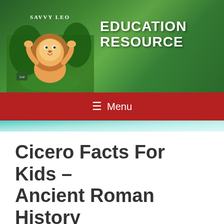[Figure (illustration): Savvy Leo Education Resource website header with a cartoon lion mascot on a jungle background with 'SAVVY LEO' text and 'EDUCATION RESOURCE' title]
≡ Menu
Cicero Facts For Kids – Ancient Roman History
[Figure (infographic): Advertisement banner: 'Just $2 can protect 1 acre of irreplaceable forest homes in the Amazon. How many acres are you willing to protect?' with PROTECT FORESTS NOW button]